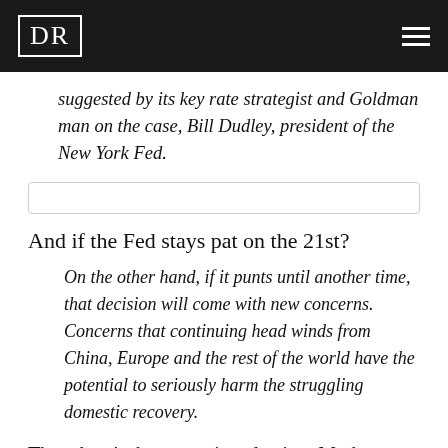DR
suggested by its key rate strategist and Goldman man on the case, Bill Dudley, president of the New York Fed.
And if the Fed stays pat on the 21st?
On the other hand, if it punts until another time, that decision will come with new concerns. Concerns that continuing head winds from China, Europe and the rest of the world have the potential to seriously harm the struggling domestic recovery.
Then there’s the upcoming election. Markets have baked a Hillary victory into the cake. But David says